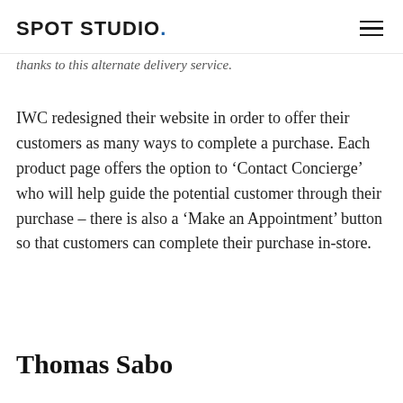SPOT STUDIO.
thanks to this alternate delivery service.
IWC redesigned their website in order to offer their customers as many ways to complete a purchase. Each product page offers the option to ‘Contact Concierge’ who will help guide the potential customer through their purchase – there is also a ‘Make an Appointment’ button so that customers can complete their purchase in-store.
Thomas Sabo